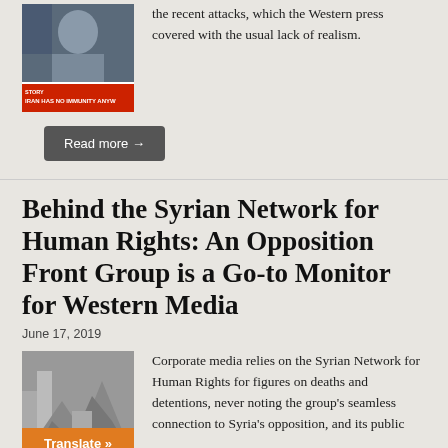[Figure (photo): News screenshot showing a man with Israeli flag and text 'STORY IRAN HAS NO IMMUNITY ANYW']
the recent attacks, which the Western press covered with the usual lack of realism.
Read more →
Behind the Syrian Network for Human Rights: An Opposition Front Group is a Go-to Monitor for Western Media
June 17, 2019
[Figure (photo): Photo of rubble/destroyed building in Syria]
Corporate media relies on the Syrian Network for Human Rights for figures on deaths and detentions, never noting the group's seamless connection to Syria's opposition, and its public
Translate »